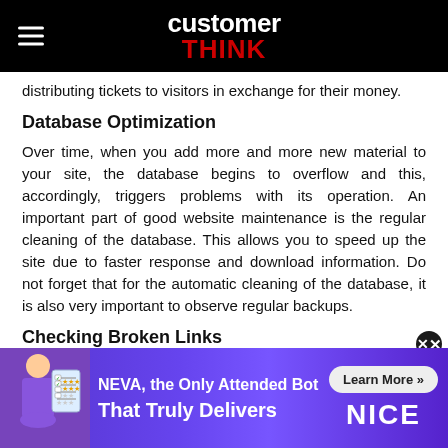customer THINK
distributing tickets to visitors in exchange for their money.
Database Optimization
Over time, when you add more and more new material to your site, the database begins to overflow and this, accordingly, triggers problems with its operation. An important part of good website maintenance is the regular cleaning of the database. This allows you to speed up the site due to faster response and download information. Do not forget that for the automatic cleaning of the database, it is also very important to observe regular backups.
Checking Broken Links
[Figure (infographic): Advertisement banner for NICE NEVA attended bot product with purple/blue gradient background, cartoon figure on left, text 'NEVA, the Only Attended Bot That Truly Delivers', Learn More button, and NICE logo on right.]